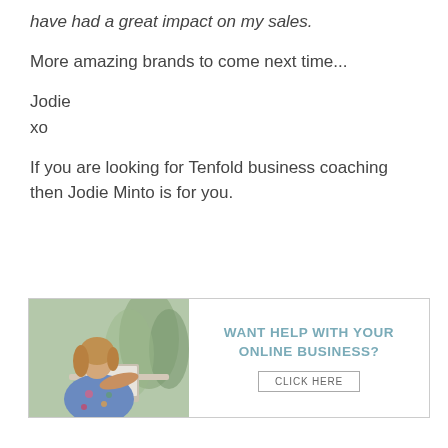have had a great impact on my sales.
More amazing brands to come next time...
Jodie
xo
If you are looking for Tenfold business coaching then Jodie Minto is for you.
[Figure (infographic): Advertisement banner with a woman working on a laptop in a floral shirt, with text 'WANT HELP WITH YOUR ONLINE BUSINESS?' and a 'CLICK HERE' button.]